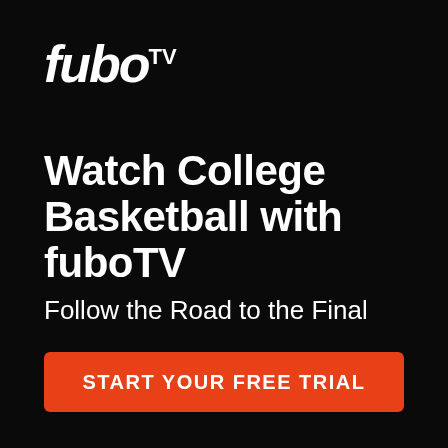[Figure (logo): fuboTV logo — italic bold white text 'fubo' with superscript 'TV']
Watch College Basketball with fuboTV
Follow the Road to the Final
Regional restrictions apply
START YOUR FREE TRIAL